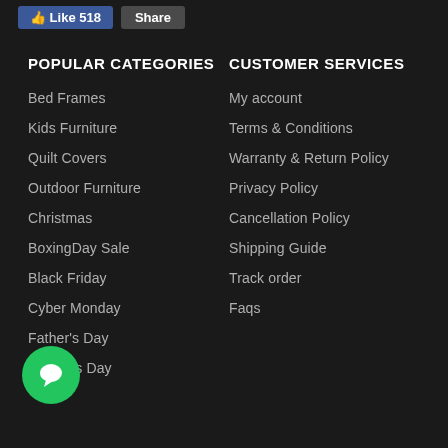[Figure (screenshot): Social media Like (518) and Share buttons in top bar]
POPULAR CATEGORIES
Bed Frames
Kids Furniture
Quilt Covers
Outdoor Furniture
Christmas
BoxingDay Sale
Black Friday
Cyber Monday
Father's Day
Mother's Day
CUSTOMER SERVICES
My account
Terms & Conditions
Warranty & Return Policy
Privacy Policy
Cancellation Policy
Shipping Guide
Track order
Faqs